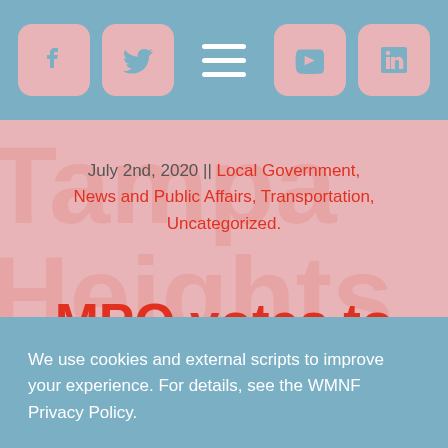Navigation bar with Facebook, Twitter, hamburger menu, YouTube, LinkedIn icons
July 2nd, 2020 || Local Government, News and Public Affairs, Transportation, Uncategorized.
MPO votes to keep plans to expand I-
We use cookies and external scripts to improve your experience. For details, see the WMNF Privacy Policy.
MORE INFORMATION   ACCEPT